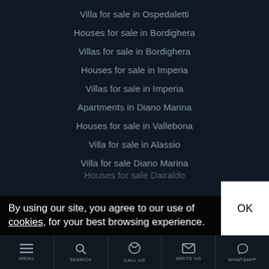Villa for sale in Ospedaletti
Houses for sale in Bordighera
Villas for sale in Bordighera
Houses for sale in Imperia
Villas for sale in Imperia
Apartments in Diano Marina
Houses for sale in Vallebona
Villa for sale in Alassio
Villa for sale Diano Marina
Houses for sale Dairaldo
By using our site, you agree to our use of cookies, for your best browsing experience.
MENU | SEARCH | CALL US | WRITE US | WHATSAPP